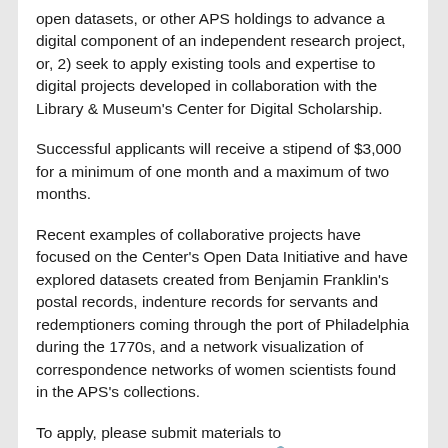open datasets, or other APS holdings to advance a digital component of an independent research project, or, 2) seek to apply existing tools and expertise to digital projects developed in collaboration with the Library & Museum's Center for Digital Scholarship.
Successful applicants will receive a stipend of $3,000 for a minimum of one month and a maximum of two months.
Recent examples of collaborative projects have focused on the Center's Open Data Initiative and have explored datasets created from Benjamin Franklin's postal records, indenture records for servants and redemptioners coming through the port of Philadelphia during the 1770s, and a network visualization of correspondence networks of women scientists found in the APS's collections.
To apply, please submit materials to https://apply.interfolio.com/69515.
------------------------------------------------------------------------
Applicants: Please use Interfolio's help desk for any